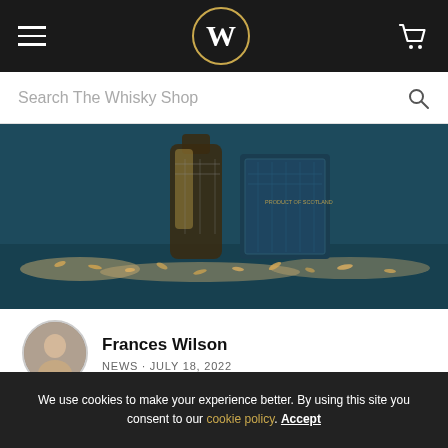W (The Whisky Shop logo navigation bar)
Search The Whisky Shop
[Figure (photo): Hero product photo showing Lochlea whisky bottle and box on a dark teal/blue surface with barley grains scattered around]
Frances Wilson
NEWS · JULY 18, 2022
New In: Lochlea Our Barley
Lochlea Our Barley is the first edition to the
We use cookies to make your experience better. By using this site you consent to our cookie policy. Accept